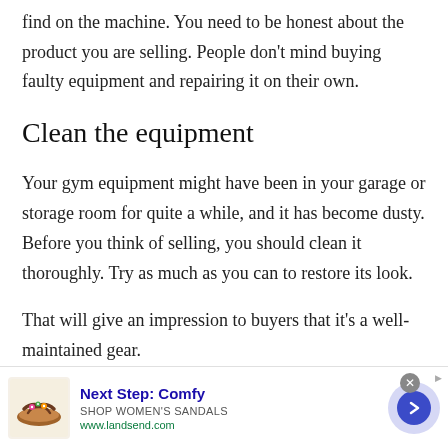find on the machine. You need to be honest about the product you are selling. People don't mind buying faulty equipment and repairing it on their own.
Clean the equipment
Your gym equipment might have been in your garage or storage room for quite a while, and it has become dusty. Before you think of selling, you should clean it thoroughly. Try as much as you can to restore its look.
That will give an impression to buyers that it's a well-maintained gear.
[Figure (other): Advertisement banner for Lands' End women's sandals featuring a sandal image, 'Next Step: Comfy' heading, 'SHOP WOMEN'S SANDALS' subtext, www.landsend.com URL, a close button, and a navigation arrow circle.]